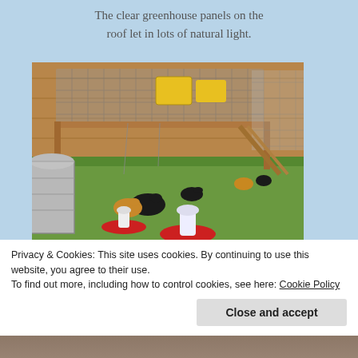The clear greenhouse panels on the roof let in lots of natural light.
[Figure (photo): Interior of a chicken coop with wooden walls, wire mesh enclosures, yellow equipment on a shelf, green ground cover, chickens roaming, and poultry feeders/waterers in the foreground. A metal trash can is visible on the left.]
Privacy & Cookies: This site uses cookies. By continuing to use this website, you agree to their use.
To find out more, including how to control cookies, see here: Cookie Policy
Close and accept